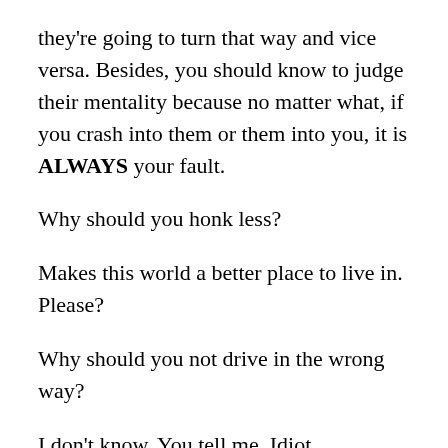they're going to turn that way and vice versa. Besides, you should know to judge their mentality because no matter what, if you crash into them or them into you, it is ALWAYS your fault.
Why should you honk less?
Makes this world a better place to live in. Please?
Why should you not drive in the wrong way?
I don't know. You tell me. Idiot.